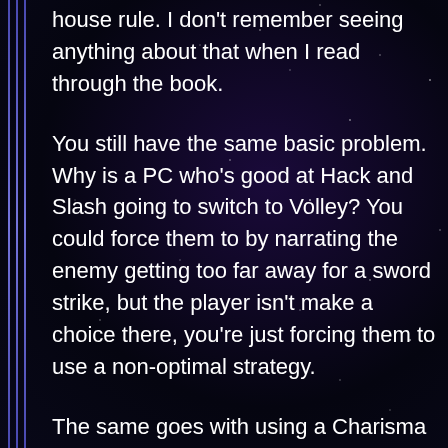house rule. I don't remember seeing anything about that when I read through the book.
You still have the same basic problem. Why is a PC who's good at Hack and Slash going to switch to Volley? You could force them to by narrating the enemy getting too far away for a sword strike, but the player isn't make a choice there, you're just forcing them to use a non-optimal strategy.
The same goes with using a Charisma based Defy Danger to cause damage. Certainly you can do it, but unless the PC